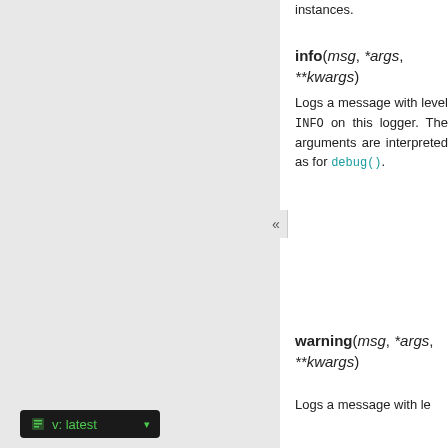instances.
info(msg, *args, **kwargs)
Logs a message with level INFO on this logger. The arguments are interpreted as for debug().
warning(msg, *args, **kwargs)
Logs a message with level WARNING on this logger. The